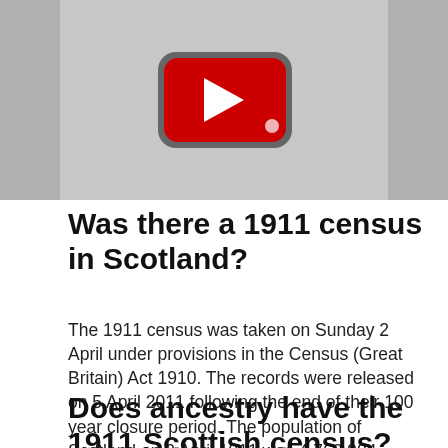[Figure (screenshot): YouTube video thumbnail showing a YouTube play button icon (red rounded rectangle with white triangle) on a grey background.]
Was there a 1911 census in Scotland?
The 1911 census was taken on Sunday 2 April under provisions in the Census (Great Britain) Act 1910. The records were released on 5 April 2011 following the end of their 100 year closure period. The population of Scotland on 2 April 1911 was 4,760,904.
Does ancestry have the 1911 Scottish census?